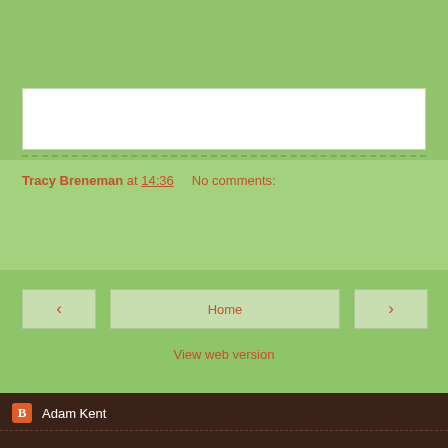Tracy Breneman at 14:36   No comments:
Share
‹   Home   ›
View web version
Adam Kent
Admin
LoraKim Joyner
Rev. Meredith Garmon